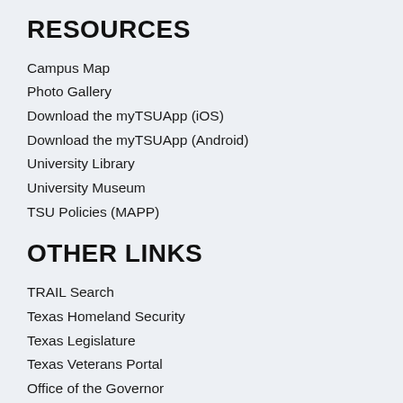RESOURCES
Campus Map
Photo Gallery
Download the myTSUApp (iOS)
Download the myTSUApp (Android)
University Library
University Museum
TSU Policies (MAPP)
OTHER LINKS
TRAIL Search
Texas Homeland Security
Texas Legislature
Texas Veterans Portal
Office of the Governor
Institutional Resume
Legislative Appropriations Request
TSU Quality Enhancement Plan
Budget Summary 2018-2019